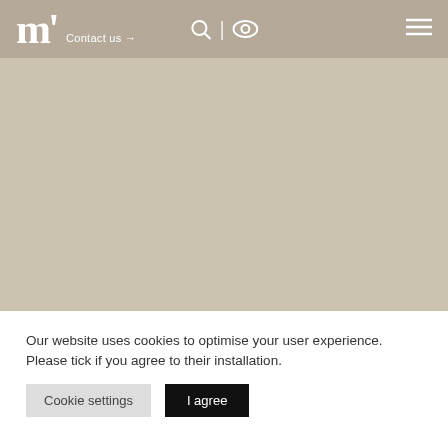Contact us →
[Figure (other): Large beige/taupe hero image area, blank content]
Our website uses cookies to optimise your user experience. Please tick if you agree to their installation.
Cookie settings | I agree